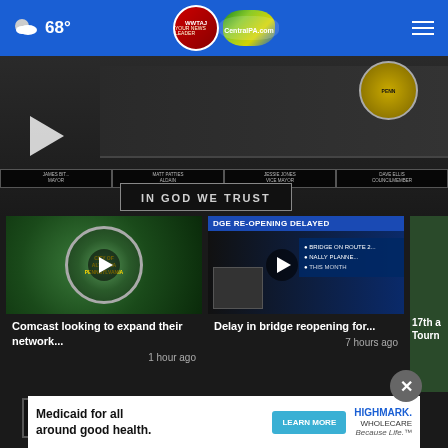68° | WWTAJ Your News Leader | CentralPA.com
[Figure (screenshot): Video thumbnail showing a city council meeting with 'IN GOD WE TRUST' sign visible, council members seated at desk with name placards]
[Figure (screenshot): Video thumbnail: City of Altoona seal with play button. Title: Comcast looking to expand their network... 1 hour ago]
[Figure (screenshot): Video thumbnail: Bridge re-opening delayed news graphic with play button. Title: Delay in bridge reopening for... 7 hours ago]
[Figure (screenshot): Partial video thumbnail (cropped): 17th a... Tourn...]
Comcast looking to expand their network...
1 hour ago
Delay in bridge reopening for...
7 hours ago
17th a Tourn
More Videos ›
[Figure (screenshot): Advertisement: Medicaid for all around good health. LEARN MORE button. Highmark Wholecare Because Life.]